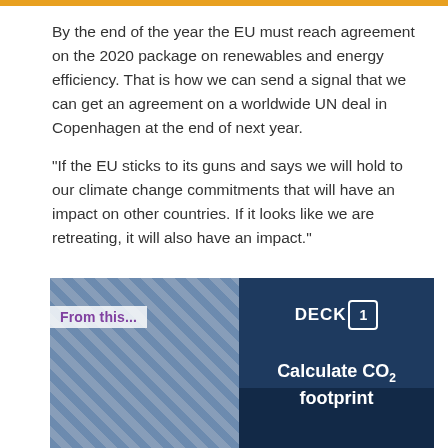By the end of the year the EU must reach agreement on the 2020 package on renewables and energy efficiency. That is how we can send a signal that we can get an agreement on a worldwide UN deal in Copenhagen at the end of next year.
“If the EU sticks to its guns and says we will hold to our climate change commitments that will have an impact on other countries. If it looks like we are retreating, it will also have an impact.”
[Figure (photo): Photo of crumpled/discarded solar panels with a label overlay reading 'From this...' in purple text on a white semi-transparent background]
[Figure (infographic): Dark blue panel with DECK 1 badge (hexagon outline) and text 'Calculate CO2 footprint' with crowd silhouettes in background]